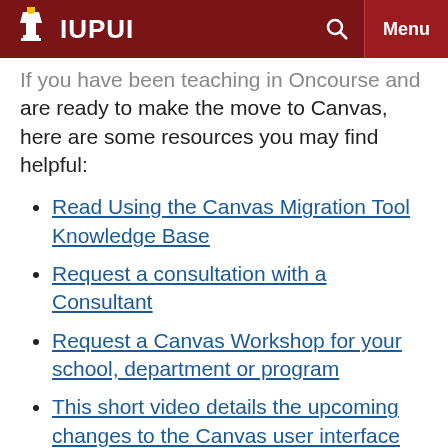IUPUI
If you have been teaching in Oncourse and are ready to make the move to Canvas, here are some resources you may find helpful:
Read Using the Canvas Migration Tool Knowledge Base
Request a consultation with a Consultant
Request a Canvas Workshop for your school, department or program
This short video details the upcoming changes to the Canvas user interface (Spring 2016)